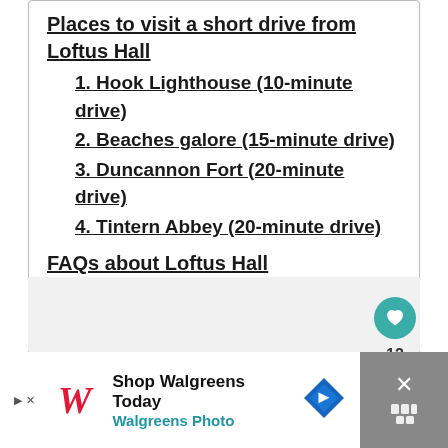Places to visit a short drive from Loftus Hall
1. Hook Lighthouse (10-minute drive)
2. Beaches galore (15-minute drive)
3. Duncannon Fort (20-minute drive)
4. Tintern Abbey (20-minute drive)
FAQs about Loftus Hall
Is Loftus Hall closing down?
What is the story of Loftus Hall?
[Figure (other): Light gray content area panel with heart/like/share social buttons on the right side]
12
[Figure (other): Advertisement bar: Shop Walgreens Today - Walgreens Photo, with close button]